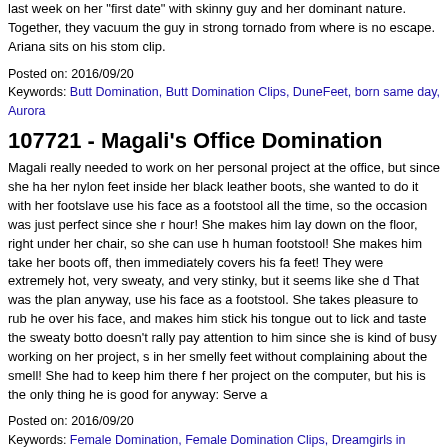last week on her "first date" with skinny guy and her dominant nature. Together, they vacuum the guy in strong tornado from where is no escape. Ariana sits on his stom clip.
Posted on: 2016/09/20
Keywords: Butt Domination, Butt Domination Clips, DuneFeet, born same day, Aurora
107721 - Magali's Office Domination
Magali really needed to work on her personal project at the office, but since she ha her nylon feet inside her black leather boots, she wanted to do it with her footslave use his face as a footstool all the time, so the occasion was just perfect since she r hour! She makes him lay down on the floor, right under her chair, so she can use h human footstool! She makes him take her boots off, then immediately covers his fa feet! They were extremely hot, very sweaty, and very stinky, but it seems like she d That was the plan anyway, use his face as a footstool. She takes pleasure to rub he over his face, and makes him stick his tongue out to lick and taste the sweaty botto doesn't rally pay attention to him since she is kind of busy working on her project, s in her smelly feet without complaining about the smell! She had to keep him there f her project on the computer, but his is the only thing he is good for anyway: Serve a
Posted on: 2016/09/20
Keywords: Female Domination, Female Domination Clips, Dreamgirls in Socks
56625 - Slave feeding with disgusting Muddy boots
Mistress Kitty dirt her boots in the mud puddle and obviously, orders her slave to lic Kitty is realy cruel and she is realy happy when she look a slave who lick her mudd then gagg his mouth to help him to eat the mud.
Posted on: 2016/09/19
Keywords: Boot Domination, Boot Domination Clips